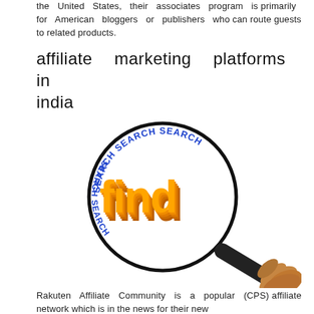the United States, their associates program is primarily for American bloggers or publishers who can route guests to related products.
affiliate marketing platforms in india
[Figure (photo): A magnifying glass held by a hand, with the text 'SEARCH SEARCH SEARCH' arranged in a circle around the lens and the word 'find' in large orange 3D letters inside the lens.]
Rakuten Affiliate Community is a popular (CPS) affiliate network which is in the news for their new